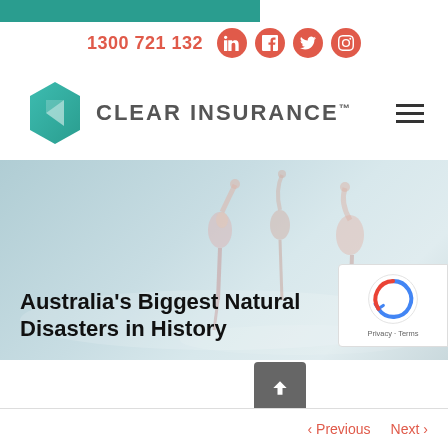1300 721 132
[Figure (logo): Clear Insurance logo with teal hexagon gem icon and text 'CLEAR INSURANCE']
[Figure (photo): Hero image with flamingos standing in shallow water, light blue-grey tones]
Australia's Biggest Natural Disasters in History
[Figure (other): Google reCAPTCHA badge showing reCAPTCHA logo with Privacy and Terms links]
Previous  Next